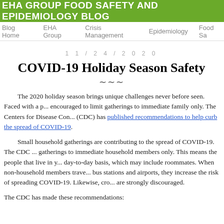EHA GROUP FOOD SAFETY AND EPIDEMIOLOGY BLOG
Blog Home   EHA Group   Crisis Management   Epidemiology   Food Sa
11/24/2020
COVID-19 Holiday Season Safety
The 2020 holiday season brings unique challenges never before seen. Faced with a pandemic, people are encouraged to limit gatherings to immediate family only. The Centers for Disease Control and Prevention (CDC) has published recommendations to help curb the spread of COVID-19.
Small household gatherings are contributing to the spread of COVID-19. The CDC recommends limiting gatherings to immediate household members only. This means the people that live in your home on a day-to-day basis, which may include roommates. When non-household members travel, including through bus stations and airports, they increase the risk of spreading COVID-19. Likewise, crowded gatherings are strongly discouraged.
The CDC has made these recommendations: